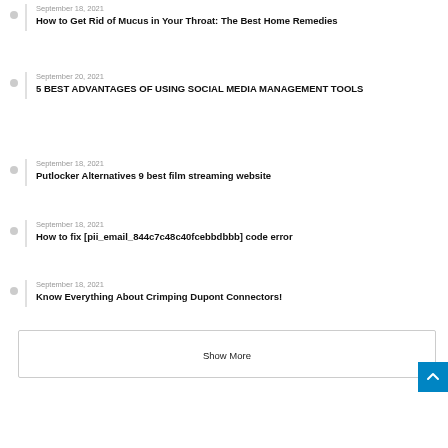September 18, 2021
How to Get Rid of Mucus in Your Throat: The Best Home Remedies
September 20, 2021
5 BEST ADVANTAGES OF USING SOCIAL MEDIA MANAGEMENT TOOLS
September 18, 2021
Putlocker Alternatives 9 best film streaming website
September 18, 2021
How to fix [pii_email_844c7c48c40fcebbdbbb] code error
September 18, 2021
Know Everything About Crimping Dupont Connectors!
Show More